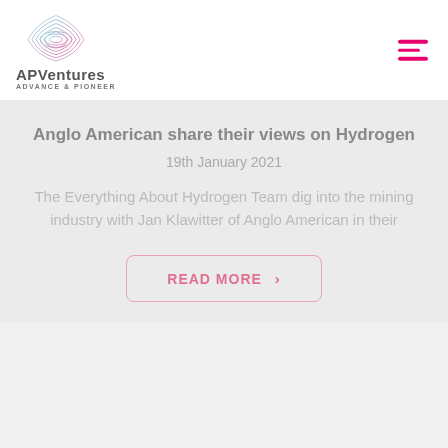[Figure (logo): APVentures logo with leaf/diamond shape in blue-pink gradient, text 'APVentures ADVANCE & PIONEER']
Anglo American share their views on Hydrogen
19th January 2021
The Everything About Hydrogen Team dig into the mining industry with Jan Klawitter of Anglo American in their
READ MORE >